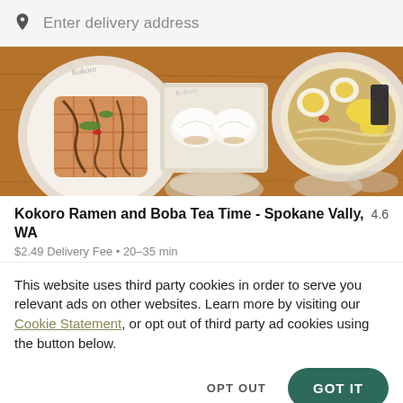Enter delivery address
[Figure (photo): Food photo showing Japanese ramen dishes: a waffle-style dish with sauce and garnish on the left, bao buns in the center, and a ramen bowl with soft-boiled egg, corn, and toppings on the right, all on a wooden surface.]
Kokoro Ramen and Boba Tea Time - Spokane Vally, WA  4.6
$2.49 Delivery Fee • 20–35 min
This website uses third party cookies in order to serve you relevant ads on other websites. Learn more by visiting our Cookie Statement, or opt out of third party ad cookies using the button below.
OPT OUT
GOT IT